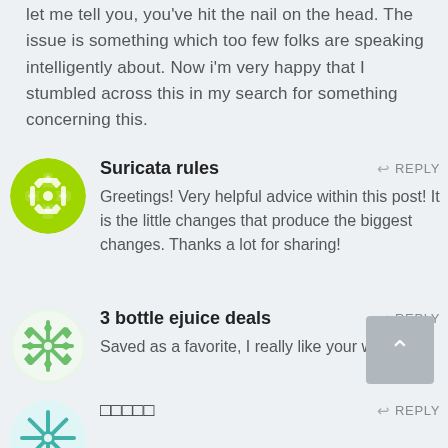let me tell you, you've hit the nail on the head. The issue is something which too few folks are speaking intelligently about. Now i'm very happy that I stumbled across this in my search for something concerning this.
Suricata rules — Greetings! Very helpful advice within this post! It is the little changes that produce the biggest changes. Thanks a lot for sharing!
3 bottle ejuice deals — Saved as a favorite, I really like your web site.
□□□□□